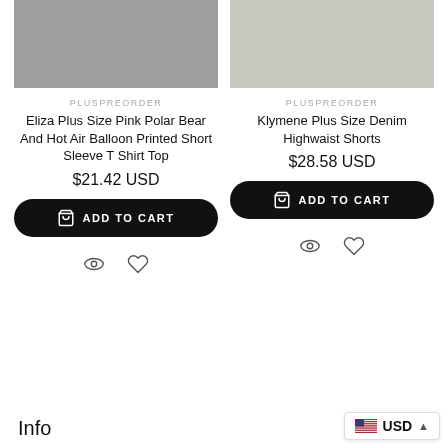[Figure (photo): Product photo of Eliza Plus Size Pink Polar Bear And Hot Air Balloon Printed Short Sleeve T Shirt Top (left column, top)]
[Figure (photo): Product photo of Klymene Plus Size Denim Highwaist Shorts (right column, top)]
PLUSPREORDER
Eliza Plus Size Pink Polar Bear And Hot Air Balloon Printed Short Sleeve T Shirt Top
$21.42 USD
ADD TO CART
PLUSPREORDER
Klymene Plus Size Denim Highwaist Shorts
$28.58 USD
ADD TO CART
Info
USD